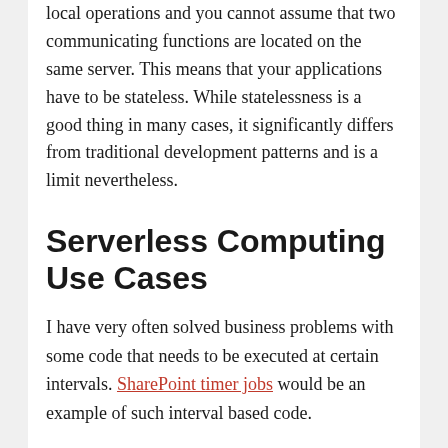local operations and you cannot assume that two communicating functions are located on the same server. This means that your applications have to be stateless. While statelessness is a good thing in many cases, it significantly differs from traditional development patterns and is a limit nevertheless.
Serverless Computing Use Cases
I have very often solved business problems with some code that needs to be executed at certain intervals. SharePoint timer jobs would be an example of such interval based code.